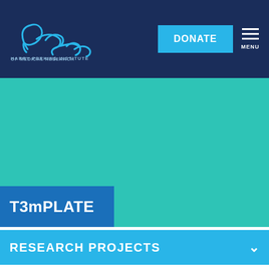[Figure (logo): Harry Perkins Institute of Medical Research logo with cursive 'Perkins' text in blue and institute name below]
DONATE
MENU
[Figure (illustration): Teal/turquoise colored banner area]
T3mPLATE
RESEARCH PROJECTS